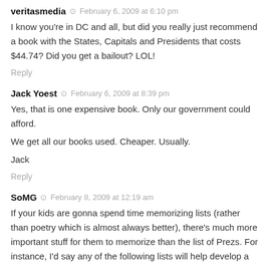veritasmedia  ⊙  February 6, 2009 at 6:10 pm
I know you're in DC and all, but did you really just recommend a book with the States, Capitals and Presidents that costs $44.74? Did you get a bailout? LOL!
Reply
Jack Yoest  ⊙  February 6, 2009 at 8:39 pm
Yes, that is one expensive book. Only our government could afford.
We get all our books used. Cheaper. Usually.
Jack
Reply
SoMG  ⊙  February 8, 2009 at 12:19 am
If your kids are gonna spend time memorizing lists (rather than poetry which is almost always better), there's much more important stuff for them to memorize than the list of Prezs. For instance, I'd say any of the following lists will help develop a